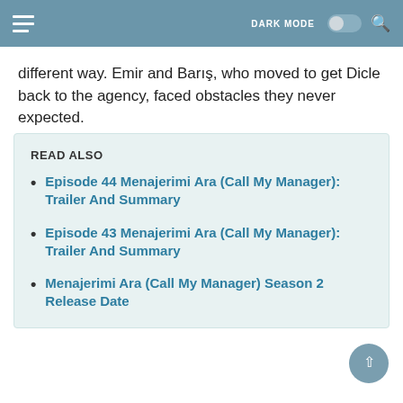DARK MODE [toggle] [search]
different way. Emir and Barış, who moved to get Dicle back to the agency, faced obstacles they never expected.
READ ALSO
Episode 44 Menajerimi Ara (Call My Manager): Trailer And Summary
Episode 43 Menajerimi Ara (Call My Manager): Trailer And Summary
Menajerimi Ara (Call My Manager) Season 2 Release Date